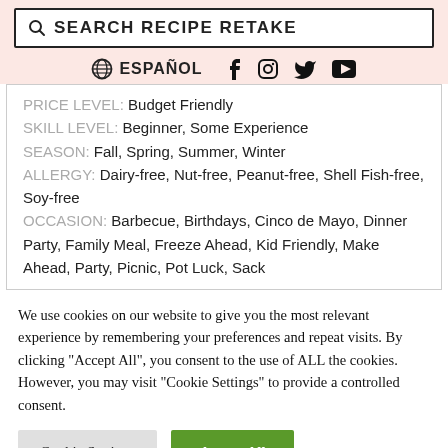SEARCH RECIPE RETAKE
🌐 ESPAÑOL  f  ig  tw  yt
PRICE LEVEL: Budget Friendly
SKILL LEVEL: Beginner, Some Experience
SEASON: Fall, Spring, Summer, Winter
ALLERGY: Dairy-free, Nut-free, Peanut-free, Shell Fish-free, Soy-free
OCCASION: Barbecue, Birthdays, Cinco de Mayo, Dinner Party, Family Meal, Freeze Ahead, Kid Friendly, Make Ahead, Party, Picnic, Pot Luck, Sack
We use cookies on our website to give you the most relevant experience by remembering your preferences and repeat visits. By clicking "Accept All", you consent to the use of ALL the cookies. However, you may visit "Cookie Settings" to provide a controlled consent.
Cookie Settings
Accept All